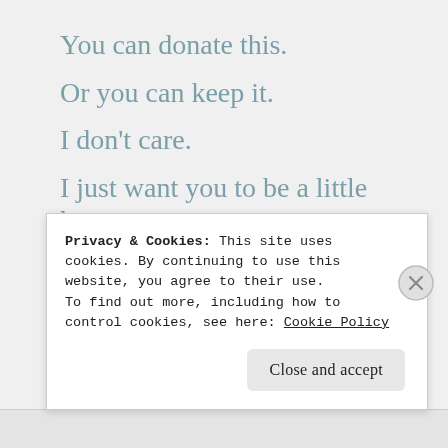You can donate this.
Or you can keep it.
I don’t care.
I just want you to be a little happy.
At least practice opening it. It’s the first step.
Privacy & Cookies: This site uses cookies. By continuing to use this website, you agree to their use.
To find out more, including how to control cookies, see here: Cookie Policy